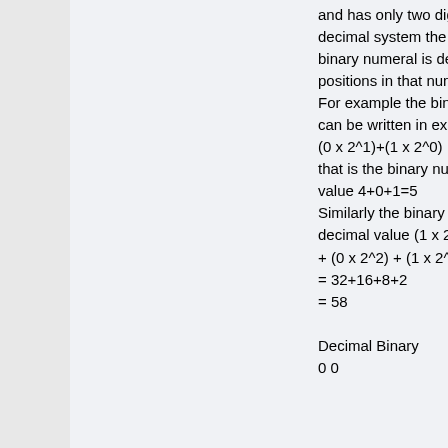and has only two digits, 0 and 1. As in a decimal system the significance of the bits in a binary numeral is determined by their positions in that numeral.
For example the binary numeral 101
can be written in expanded form as (1 x 2^2)+(0 x 2^1)+(1 x 2^0)
that is the binary numeral 101 has the decimal value 4+0+1=5
Similarly the binary numeral 111010 has the decimal value (1 x 2^5) + (1 x 2^4) + (1 x 2^3) + (0 x 2^2) + (1 x 2^1) + (0 x 2^0)
= 32+16+8+2
= 58

Decimal Binary
0 0